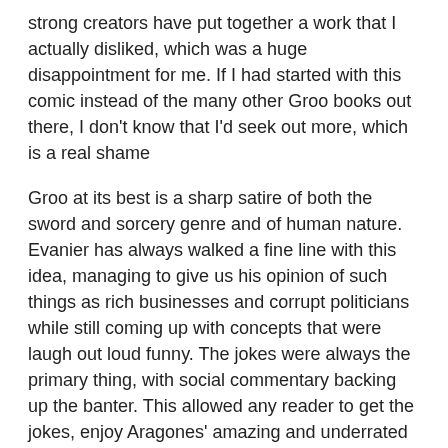strong creators have put together a work that I actually disliked, which was a huge disappointment for me. If I had started with this comic instead of the many other Groo books out there, I don't know that I'd seek out more, which is a real shame
Groo at its best is a sharp satire of both the sword and sorcery genre and of human nature. Evanier has always walked a fine line with this idea, managing to give us his opinion of such things as rich businesses and corrupt politicians while still coming up with concepts that were laugh out loud funny. The jokes were always the primary thing, with social commentary backing up the banter. This allowed any reader to get the jokes, enjoy Aragones' amazing and underrated visuals, and also digest some deeper meaning from seemingly silly comics.
That's not the case this time around, as the narrative unwisely splits between Groo's comic antics and an extremely serious set of lectures by the Sage about the